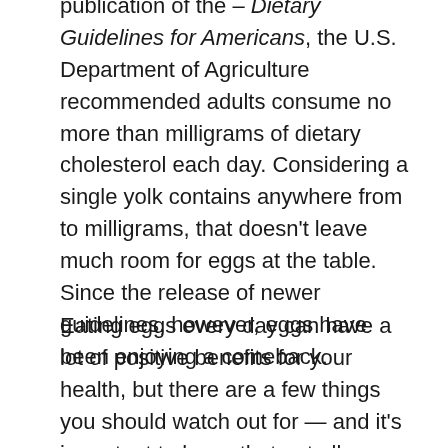publication of the – Dietary Guidelines for Americans, the U.S. Department of Agriculture recommended adults consume no more than milligrams of dietary cholesterol each day. Considering a single yolk contains anywhere from to milligrams, that doesn't leave much room for eggs at the table. Since the release of newer guidelines, however, eggs have been enjoying a comeback.
Eating eggs every day can have a lot of positive benefits for your health, but there are a few things you should watch out for — and it's important to know that not all eggs are created equal.